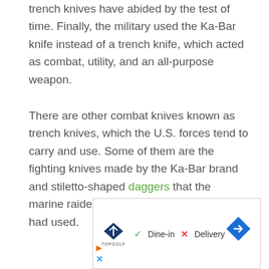trench knives have abided by the test of time. Finally, the military used the Ka-Bar knife instead of a trench knife, which acted as combat, utility, and an all-purpose weapon.
There are other combat knives known as trench knives, which the U.S. forces tend to carry and use. Some of them are the fighting knives made by the Ka-Bar brand and stiletto-shaped daggers that the marine raiders of the Second World War had used.
[Figure (other): Advertisement banner showing Topgolf logo with Dine-in (green checkmark) and Delivery (red X) labels, a blue diamond navigation arrow icon, and small orange play and blue X icons at bottom left.]